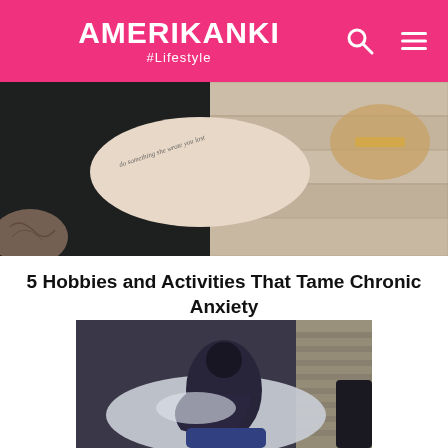AMERIKANKI #Lifestyle
[Figure (photo): Close-up photo of a woman's arm with a script tattoo, holding what appears to be a dark bag; wooden background visible.]
5 Hobbies and Activities That Tame Chronic Anxiety
[Figure (photo): Person sitting on a bed hugging a large pillow, head bowed, in a dimly lit room with light coming through blinds.]